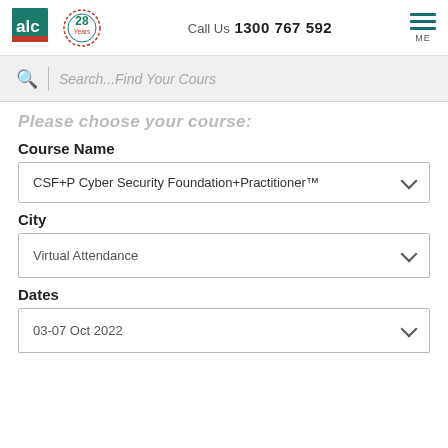[Figure (logo): ALC logo with teal square and orange bar, plus 28 Years badge]
Call Us 1300 767 592
[Figure (other): Hamburger menu icon with ME label]
Search...Find Your Course
Please choose your course:
Course Name
CSF+P Cyber Security Foundation+Practitioner™
City
Virtual Attendance
Dates
03-07 Oct 2022